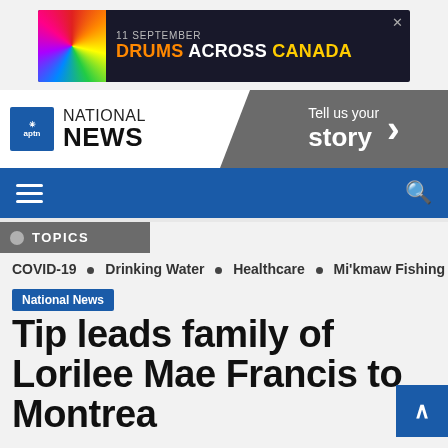[Figure (screenshot): Advertisement banner: '11 SEPTEMBER DRUMS ACROSS CANADA' with colorful wheel graphic on dark background]
[Figure (logo): APTN National News logo with blue box and navigation header including 'Tell us your story >' on grey background]
[Figure (screenshot): Blue navigation bar with hamburger menu icon on left and search icon on right]
TOPICS
COVID-19 • Drinking Water • Healthcare • Mi'kmaw Fishing
National News
Tip leads family of Lorilee Mae Francis to Montrea